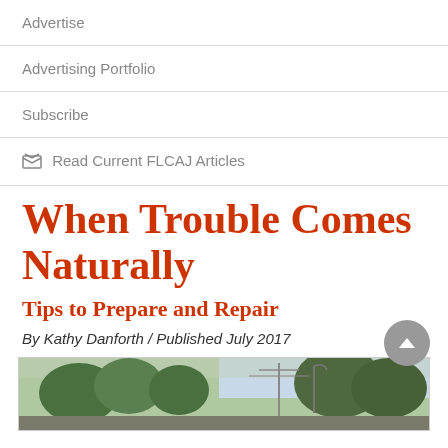Advertise
Advertising Portfolio
Subscribe
Read Current FLCAJ Articles
When Trouble Comes Naturally
Tips to Prepare and Repair
By Kathy Danforth / Published July 2017
[Figure (photo): Outdoor street scene with trees and utility poles against a cloudy sky]